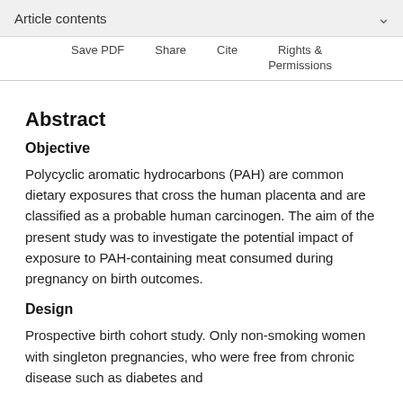Article contents
Save PDF   Share   Cite   Rights & Permissions
Abstract
Objective
Polycyclic aromatic hydrocarbons (PAH) are common dietary exposures that cross the human placenta and are classified as a probable human carcinogen. The aim of the present study was to investigate the potential impact of exposure to PAH-containing meat consumed during pregnancy on birth outcomes.
Design
Prospective birth cohort study. Only non-smoking women with singleton pregnancies, who were free from chronic disease such as diabetes and